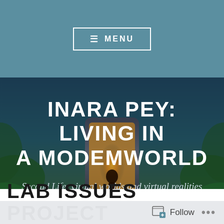≡ MENU
[Figure (illustration): Hero image of a stylized figure standing in front of a glowing doorway or portal surrounded by tropical foliage, with a dark blue-green atmospheric background. Overlay text reads: INARA PEY: LIVING IN A MODEMWORLD / Second Life, virtual worlds and virtual realities.]
INARA PEY: LIVING IN A MODEMWORLD
Second Life, virtual worlds and virtual realities
LAB ISSUES PROJECT
Follow ...